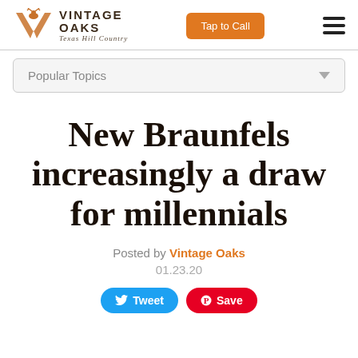[Figure (logo): Vintage Oaks logo with stylized V and deer silhouette, Texas Hill Country tagline, orange Tap to Call button, and hamburger menu icon]
Popular Topics
New Braunfels increasingly a draw for millennials
Posted by Vintage Oaks
01.23.20
Tweet  Save